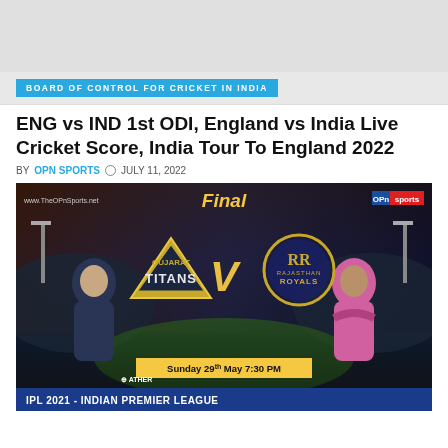[Figure (screenshot): Grey banner area at top of webpage]
BOARD OF CONTROL FOR CRICKET IN INDIA
ENG vs IND 1st ODI, England vs India Live Cricket Score, India Tour To England 2022
BY OPN SPORTS  JULY 11, 2022
[Figure (photo): IPL 2021 Indian Premier League Final match graphic showing Gujarat Titans vs Rajasthan Royals on Sunday 29th May at 7:30 PM, with player photos and team logos, stadium background. OPn Sports branding. www.TheOPnSports.net watermark.]